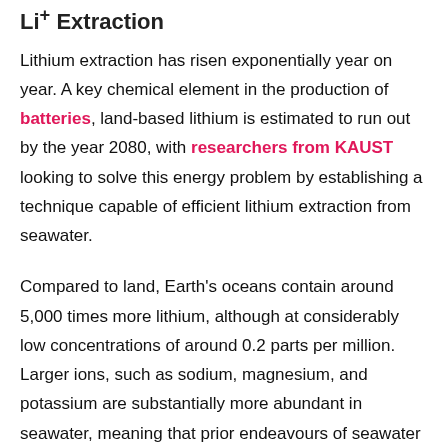Li+ Extraction
Lithium extraction has risen exponentially year on year. A key chemical element in the production of batteries, land-based lithium is estimated to run out by the year 2080, with researchers from KAUST looking to solve this energy problem by establishing a technique capable of efficient lithium extraction from seawater.
Compared to land, Earth's oceans contain around 5,000 times more lithium, although at considerably low concentrations of around 0.2 parts per million. Larger ions, such as sodium, magnesium, and potassium are substantially more abundant in seawater, meaning that prior endeavours of seawater lithium extraction have